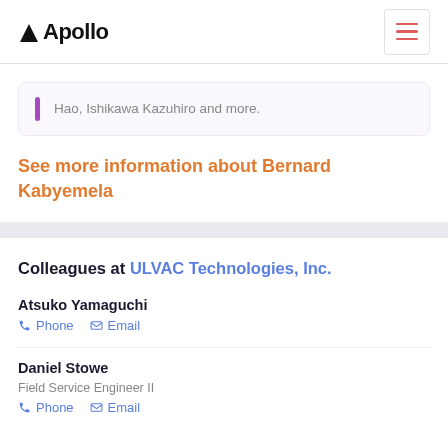Apollo
Hao, Ishikawa Kazuhiro and more.
See more information about Bernard Kabyemela
Colleagues at ULVAC Technologies, Inc.
Atsuko Yamaguchi
Phone   Email
Daniel Stowe
Field Service Engineer II
Phone   Email